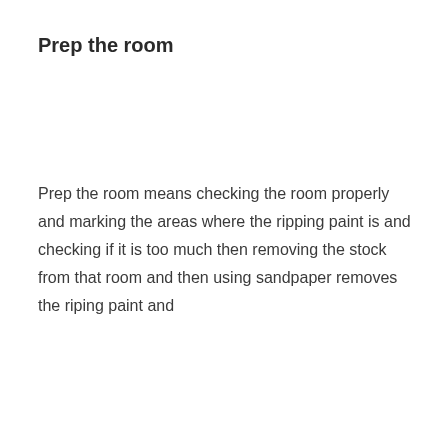Prep the room
Prep the room means checking the room properly and marking the areas where the ripping paint is and checking if it is too much then removing the stock from that room and then using sandpaper removes the riping paint and